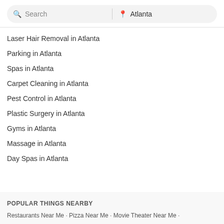[Figure (screenshot): Search bar with search icon and text 'Search' on left, divider, location pin icon and text 'Atlanta' on right, rounded rectangle background]
Laser Hair Removal in Atlanta
Parking in Atlanta
Spas in Atlanta
Carpet Cleaning in Atlanta
Pest Control in Atlanta
Plastic Surgery in Atlanta
Gyms in Atlanta
Massage in Atlanta
Day Spas in Atlanta
POPULAR THINGS NEARBY
Restaurants Near Me · Pizza Near Me · Movie Theater Near Me ·